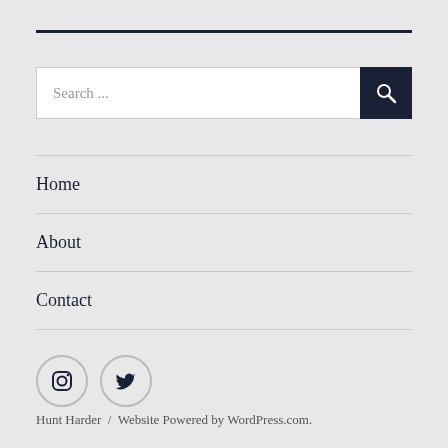[Figure (other): Horizontal dark navy decorative bar at top of page]
[Figure (other): Search bar with white input field showing 'Search ...' placeholder and dark navy search button with magnifying glass icon]
Home
About
Contact
[Figure (other): Social media icons: Instagram circle icon and Twitter circle icon]
Hunt Harder / Website Powered by WordPress.com.